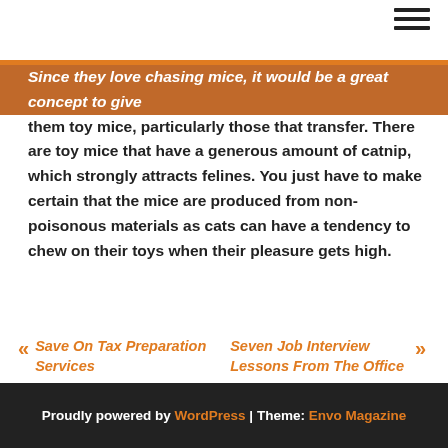Since they love chasing mice, it would be a great concept to give them toy mice, particularly those that transfer. There are toy mice that have a generous amount of catnip, which strongly attracts felines. You just have to make certain that the mice are produced from non-poisonous materials as cats can have a tendency to chew on their toys when their pleasure gets high.
« Save On Tax Preparation Services
Seven Job Interview Lessons From The Office »
Proudly powered by WordPress | Theme: Envo Magazine